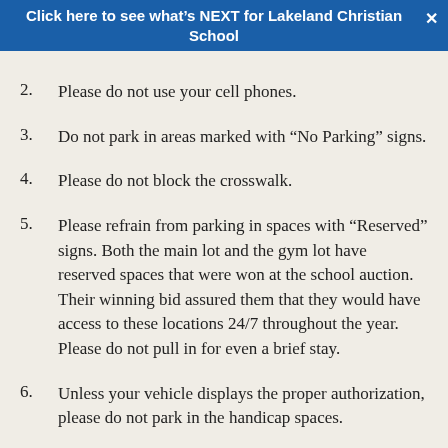Click here to see what's NEXT for Lakeland Christian School ×
2.    Please do not use your cell phones.
3.    Do not park in areas marked with “No Parking” signs.
4.    Please do not block the crosswalk.
5.    Please refrain from parking in spaces with “Reserved” signs. Both the main lot and the gym lot have reserved spaces that were won at the school auction. Their winning bid assured them that they would have access to these locations 24/7 throughout the year. Please do not pull in for even a brief stay.
6.    Unless your vehicle displays the proper authorization, please do not park in the handicap spaces.
7.    Please do not park in the numbered spaces reserved